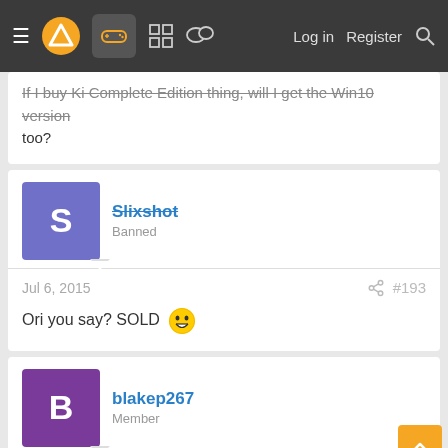≡ [logo] [controller icon] [grid icon] [chat icon]   Log in   Register   🔍
If I buy Ki Complete Edition thing, will I get the Win10 version too?
Slixshot
Banned
Jul 6, 2015   #193
Ori you say? SOLD 😁
blakep267
Member
Jul 6, 2015
Montresor said: ↑